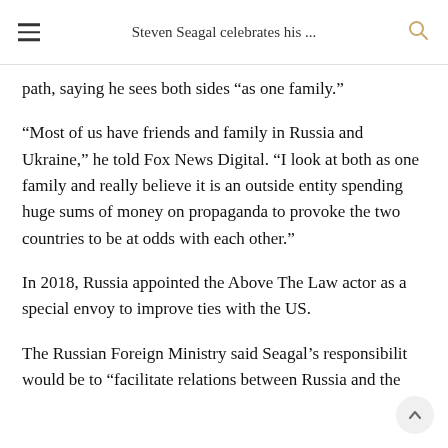Steven Seagal celebrates his ...
path, saying he sees both sides “as one family.”
“Most of us have friends and family in Russia and Ukraine,” he told Fox News Digital. “I look at both as one family and really believe it is an outside entity spending huge sums of money on propaganda to provoke the two countries to be at odds with each other.”
In 2018, Russia appointed the Above The Law actor as a special envoy to improve ties with the US.
The Russian Foreign Ministry said Seagal’s responsibilit would be to “facilitate relations between Russia and the